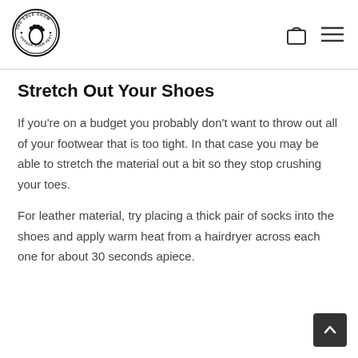[Figure (logo): The Sole Show logo — circular badge with a foot icon and text 'THE SOLE SHOW · UNPACK YOUR FEET']
Stretch Out Your Shoes
If you're on a budget you probably don't want to throw out all of your footwear that is too tight. In that case you may be able to stretch the material out a bit so they stop crushing your toes.
For leather material, try placing a thick pair of socks into the shoes and apply warm heat from a hairdryer across each one for about 30 seconds apiece.